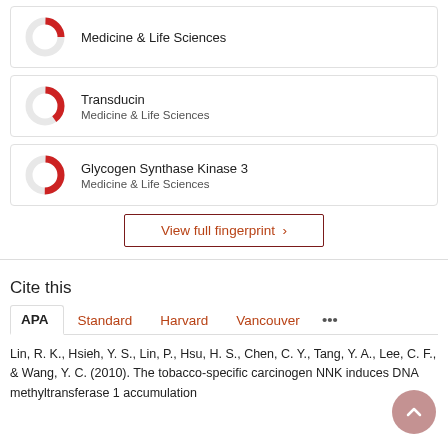[Figure (donut-chart): Donut chart partially filled red, Medicine & Life Sciences label]
Medicine & Life Sciences
[Figure (donut-chart): Donut chart about 40% filled red for Transducin]
Transducin
Medicine & Life Sciences
[Figure (donut-chart): Donut chart about 50% filled red for Glycogen Synthase Kinase 3]
Glycogen Synthase Kinase 3
Medicine & Life Sciences
View full fingerprint ›
Cite this
APA  Standard  Harvard  Vancouver  ···
Lin, R. K., Hsieh, Y. S., Lin, P., Hsu, H. S., Chen, C. Y., Tang, Y. A., Lee, C. F., & Wang, Y. C. (2010). The tobacco-specific carcinogen NNK induces DNA methyltransferase 1 accumulation and